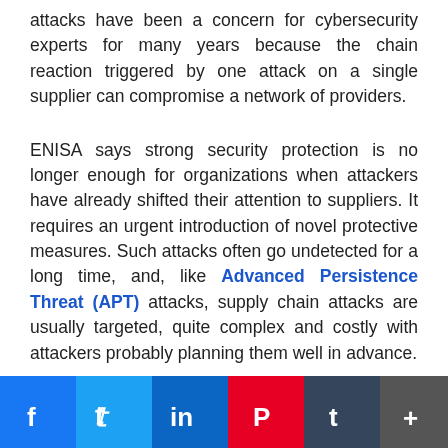attacks have been a concern for cybersecurity experts for many years because the chain reaction triggered by one attack on a single supplier can compromise a network of providers.
ENISA says strong security protection is no longer enough for organizations when attackers have already shifted their attention to suppliers. It requires an urgent introduction of novel protective measures. Such attacks often go undetected for a long time, and, like Advanced Persistence Threat (APT) attacks, supply chain attacks are usually targeted, quite complex and costly with attackers probably planning them well in advance.
This shows that organizations should focus their efforts on auditing third-party code and software before using
[Figure (other): Social sharing bar at bottom of page with icons for Facebook, Twitter, LinkedIn, Pinterest, Tumblr, and a share/plus button]